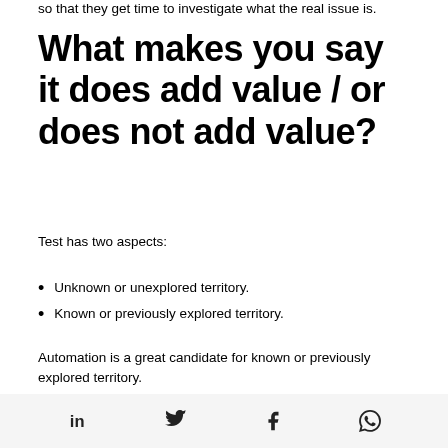so that they get time to investigate what the real issue is.
What makes you say it does add value / or does not add value?
Test has two aspects:
Unknown or unexplored territory.
Known or previously explored territory.
Automation is a great candidate for known or previously explored territory.
in  [twitter]  f  [whatsapp]